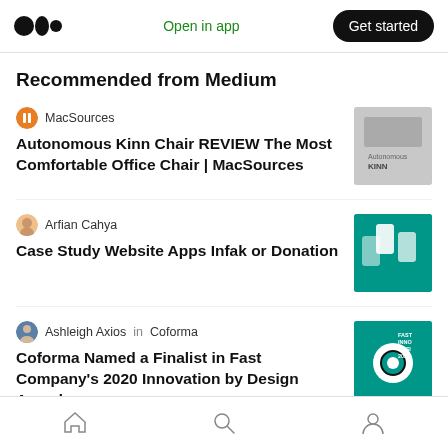Open in app  Get started
Recommended from Medium
MacSources
Autonomous Kinn Chair REVIEW The Most Comfortable Office Chair | MacSources
Arfian Cahya
Case Study Website Apps Infak or Donation
Ashleigh Axios in Coforma
Coforma Named a Finalist in Fast Company's 2020 Innovation by Design Awards.
Home  Search  Profile